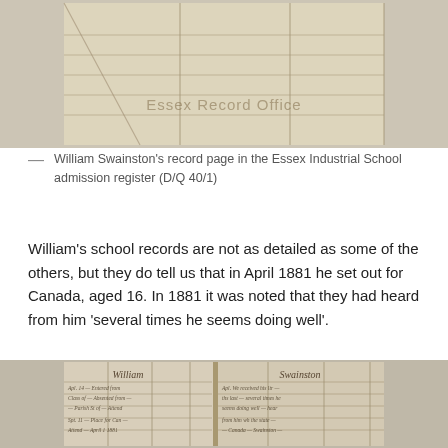[Figure (photo): Photograph of William Swainston's record page in the Essex Industrial School admission register (D/Q 40/1) — a scanned document showing lined paper with columns, featuring the Essex Record Office watermark]
— William Swainston's record page in the Essex Industrial School admission register (D/Q 40/1)
William's school records are not as detailed as some of the others, but they do tell us that in April 1881 he set out for Canada, aged 16. In 1881 it was noted that they had heard from him 'several times he seems doing well'.
[Figure (photo): Photograph of an open ledger book showing the admission register for William Swainston, with handwritten entries in cursive across two pages with column lines]